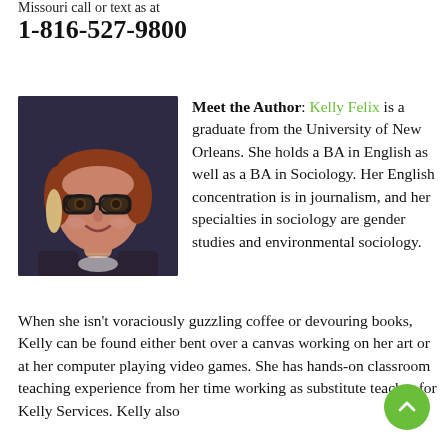Missouri call or text as at
1-816-527-9800
[Figure (photo): Headshot of Kelly Felix, a woman with reddish-brown hair and glasses, smiling, in front of a dark blue background.]
Meet the Author: Kelly Felix is a graduate from the University of New Orleans. She holds a BA in English as well as a BA in Sociology. Her English concentration is in journalism, and her specialties in sociology are gender studies and environmental sociology.
When she isn't voraciously guzzling coffee or devouring books, Kelly can be found either bent over a canvas working on her art or at her computer playing video games. She has hands-on classroom teaching experience from her time working as substitute teacher for Kelly Services. Kelly also